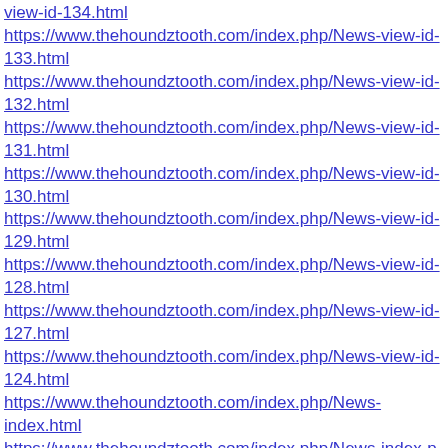view-id-134.html https://www.thehoundztooth.com/index.php/News-view-id-133.html https://www.thehoundztooth.com/index.php/News-view-id-132.html https://www.thehoundztooth.com/index.php/News-view-id-131.html https://www.thehoundztooth.com/index.php/News-view-id-130.html https://www.thehoundztooth.com/index.php/News-view-id-129.html https://www.thehoundztooth.com/index.php/News-view-id-128.html https://www.thehoundztooth.com/index.php/News-view-id-127.html https://www.thehoundztooth.com/index.php/News-view-id-124.html https://www.thehoundztooth.com/index.php/News-index.html https://www.thehoundztooth.com/index.php/News-index-p-9.html https://www.thehoundztooth.com/index.php/News-index-p-8.html https://www.thehoundztooth.com/index.php/News-index-p-7.html https://www.thehoundztooth.com/index.php/News-index-p-6.html https://www.thehoundztooth.com/index.php/News-index-p-5.html https://www.thehoundztooth.com/index.php/News-index-p-4.html https://www.thehoundztooth.com/index.php/News-index-p-3.html https://www.thehoundztooth.com/index.php/News-index-p-21.html https://www.thehoundztooth.com/index.php/News-index-p-20.html https://www.thehoundztooth.com/index.php/News-index-p-2.html https://www.thehoundztooth.com/index.php/News-index-p-18.html https://www.thehoundztooth.com/index.php/News-index-p-17.html